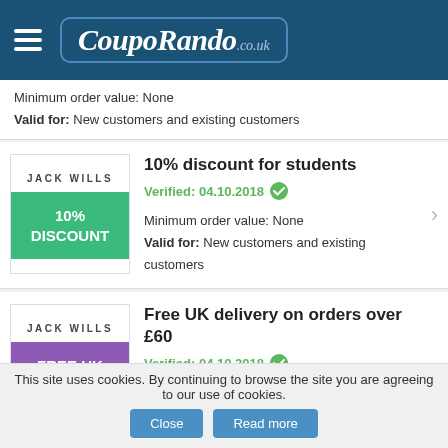CoupoRando.co.uk
Minimum order value: None
Valid for: New customers and existing customers
10% discount for students
Verified: 04.10.2018
Minimum order value: None
Valid for: New customers and existing customers
Free UK delivery on orders over £60
Verified: 04.10.2018
Minimum order value: 60,00 £
Valid for: New customers and existing customers
This site uses cookies. By continuing to browse the site you are agreeing to our use of cookies.